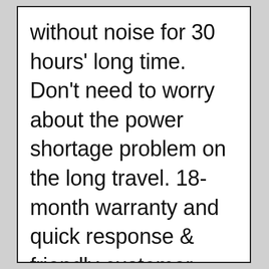without noise for 30 hours' long time. Don't need to worry about the power shortage problem on the long travel. 18-month warranty and quick response & friendly customer service. Note: The exclusive